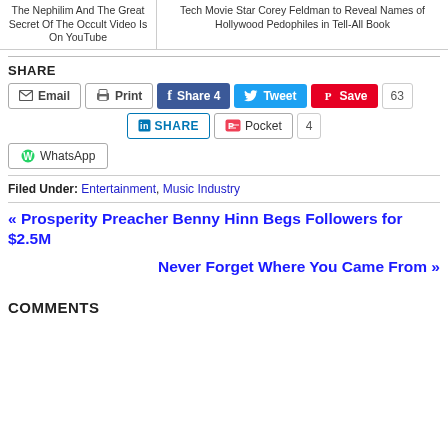The Nephilim And The Great Secret Of The Occult Video Is On YouTube
Tech Movie Star Corey Feldman to Reveal Names of Hollywood Pedophiles in Tell-All Book
SHARE
Email | Print | Share 4 | Tweet | Save 63 | SHARE | Pocket 4 | WhatsApp
Filed Under: Entertainment, Music Industry
« Prosperity Preacher Benny Hinn Begs Followers for $2.5M
Never Forget Where You Came From »
COMMENTS